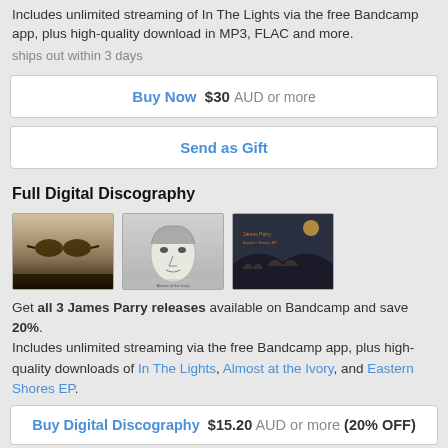Includes unlimited streaming of In The Lights via the free Bandcamp app, plus high-quality download in MP3, FLAC and more.
ships out within 3 days
Buy Now  $30 AUD or more
Send as Gift
Full Digital Discography
[Figure (photo): Three album covers side by side: first is a sepia/dark album with sunglasses, second is a pencil-sketch portrait of a man, third is a dark illustration with animals and moon.]
Get all 3 James Parry releases available on Bandcamp and save 20%. Includes unlimited streaming via the free Bandcamp app, plus high-quality downloads of In The Lights, Almost at the Ivory, and Eastern Shores EP.
Buy Digital Discography  $15.20 AUD or more (20% OFF)